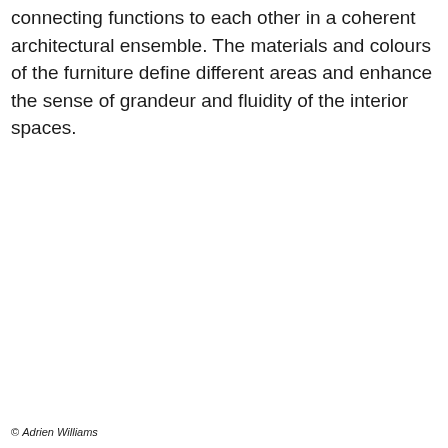connecting functions to each other in a coherent architectural ensemble. The materials and colours of the furniture define different areas and enhance the sense of grandeur and fluidity of the interior spaces.
© Adrien Williams